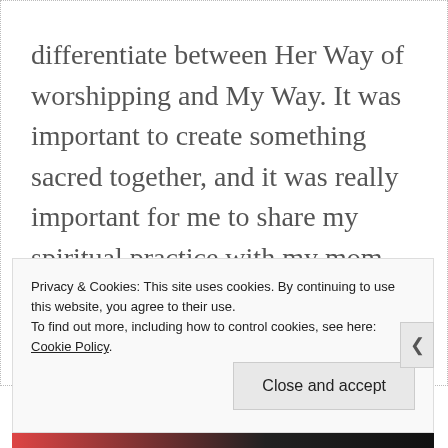differentiate between Her Way of worshipping and My Way. It was important to create something sacred together, and it was really important for me to share my spiritual practice with my mom.

Why did it feel so vulnerable to
Privacy & Cookies: This site uses cookies. By continuing to use this website, you agree to their use.
To find out more, including how to control cookies, see here: Cookie Policy.
Close and accept